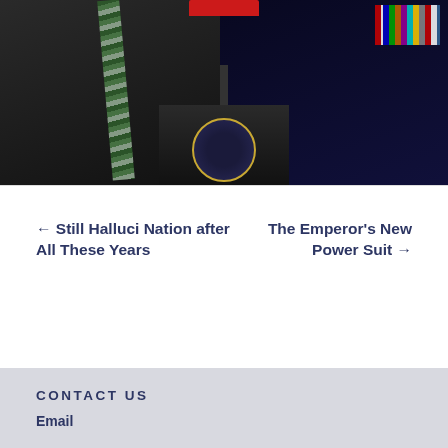[Figure (photo): Two men at a presidential-style podium. Left figure wears a dark suit with green striped tie. Right figure wears a dark military uniform with service ribbons. A red element (possibly a cap) appears at the top. The presidential seal is visible on the podium.]
← Still Halluci Nation after All These Years
The Emperor's New Power Suit →
CONTACT US
Email